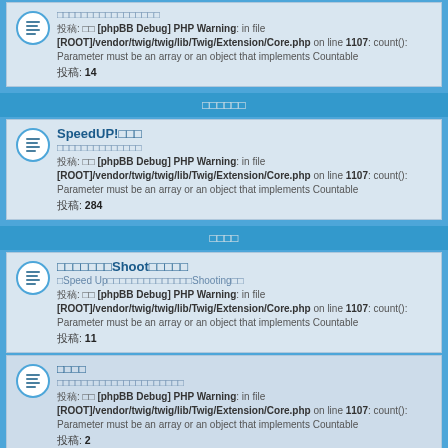[phpBB Debug] PHP Warning: in file [ROOT]/vendor/twig/twig/lib/Twig/Extension/Core.php on line 1107: count(): Parameter must be an array or an object that implements Countable. 投稿: 14
フリートーク
SpeedUP!のまとめ. [phpBB Debug] PHP Warning: in file [ROOT]/vendor/twig/twig/lib/Twig/Extension/Core.php on line 1107: count(): Parameter must be an array or an object that implements Countable. 投稿: 284
ゲーム内
みんなでShootしよう！. Speed Upをみんなでわいわいと楽しくShooting！！. 投稿: 11
雑談部屋. みんなのゲーム内での雑談などなど. 投稿: 2